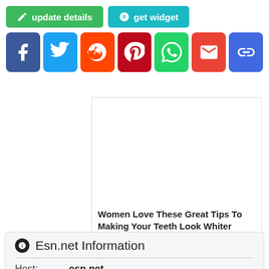[Figure (screenshot): Update details and get widget buttons, social sharing icons (Facebook, Twitter, Reddit, Pinterest, WhatsApp, Gmail, Copy link), an advertisement box with text 'Women Love These Great Tips To Making Your Teeth Look Whiter' by Herbeauty with PurpleAds badge, and an Esn.net Information panel showing Host: esn.net]
update details
get widget
Esn.net Information
Host: esn.net